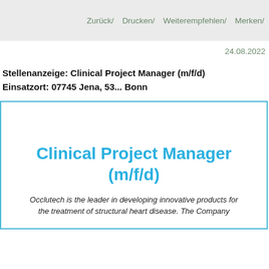Zurück/   Drucken/   Weiterempfehlen/   Merken/
24.08.2022
Stellenanzeige: Clinical Project Manager (m/f/d)
Einsatzort: 07745 Jena, 53... Bonn
[Figure (other): Job posting box with blue border containing job title 'Clinical Project Manager (m/f/d)' in cyan/blue text, and introductory text 'Occlutech is the leader in developing innovative products for the treatment of structural heart disease. The Company']
Occlutech is the leader in developing innovative products for the treatment of structural heart disease. The Company